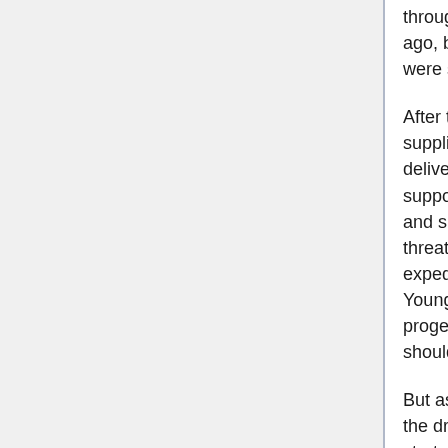through the Stargate from Novas over 30 years ago, but the connection was damaged and they were stranded.
After the locals have helped load Destiny with supplies, they ask for something in return: To be delivered back on their home planet. Destiny's life support is unlikely to accommodate all of them, and since a black hole and natural disasters threatened Novas at the original time of the expedition, the civilization may not even still exist. Young must deny the request of his future progeny, offering instead to help fix the 'gate, should that be an option.
But as Eli and Camile deliver their sad message, the drones find the planet and open fire. Everyone starts to evacuate through the 'gate onto Destiny, but the